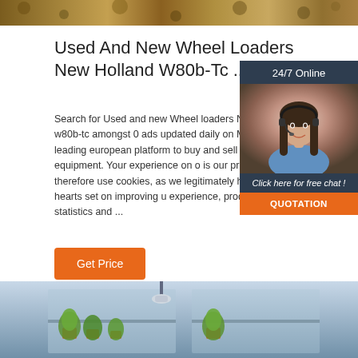[Figure (photo): Top image strip showing dirt/ground with autumn leaves]
Used And New Wheel Loaders New Holland W80b-Tc ...
Search for Used and new Wheel loaders New Holland w80b-tc amongst 0 ads updated daily on Mach the leading european platform to buy and sell construction equipment. Your experience on o is our priority. We therefore use cookies, as we legitimately have our hearts set on improving u experience, producing statistics and ...
[Figure (photo): Chat widget with woman wearing headset, 24/7 Online label, Click here for free chat! text, and QUOTATION button]
Get Price
[Figure (photo): Bottom image showing interior room with plants and shelving]